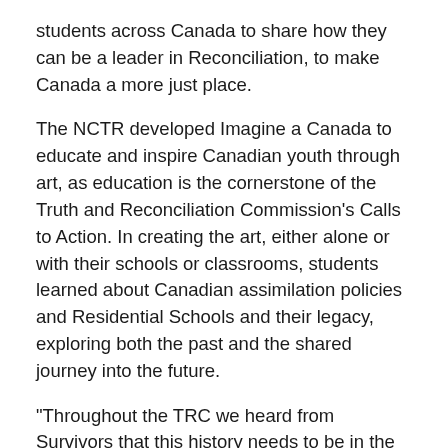students across Canada to share how they can be a leader in Reconciliation, to make Canada a more just place.
The NCTR developed Imagine a Canada to educate and inspire Canadian youth through art, as education is the cornerstone of the Truth and Reconciliation Commission's Calls to Action. In creating the art, either alone or with their schools or classrooms, students learned about Canadian assimilation policies and Residential Schools and their legacy, exploring both the past and the shared journey into the future.
“Throughout the TRC we heard from Survivors that this history needs to be in the schools, and that Canada needs to be educated. Reconciliation cannot happen without the truth and it is essential for youth to be part of this conversation,” says Ry Moran, director of the NCTR.
Students explored their creative sides, producing artwork from paintings to poetry for the program. Submissions